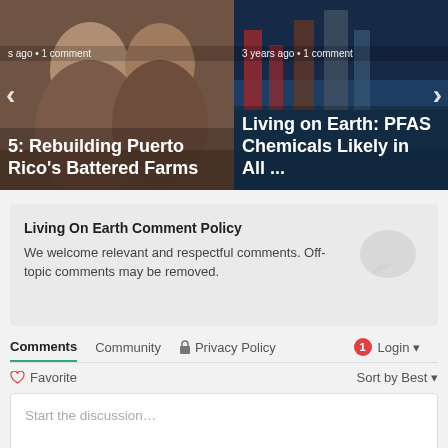[Figure (photo): Carousel with two article cards. Left card shows two people outdoors with title '5: Rebuilding Puerto Rico's Battered Farms' and metadata 's ago • 1 comment'. Right card shows industrial water treatment facility with title 'Living on Earth: PFAS Chemicals Likely in All ...' and metadata '3 years ago • 1 comment'. Navigation arrows on left and right sides.]
Living On Earth Comment Policy
We welcome relevant and respectful comments. Off-topic comments may be removed.
Comments
Community
Privacy Policy
Login
♡ Favorite
Sort by Best
Start the discussion…